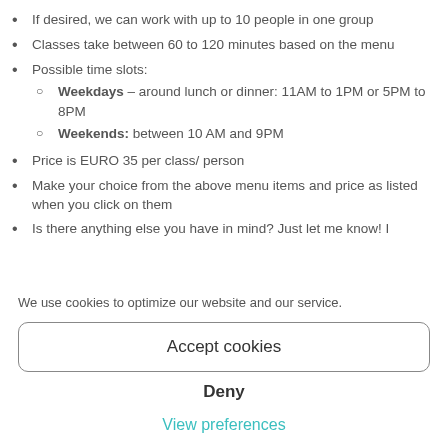If desired, we can work with up to 10 people in one group
Classes take between 60 to 120 minutes based on the menu
Possible time slots:
Weekdays – around lunch or dinner: 11AM to 1PM or 5PM to 8PM
Weekends: between 10 AM and 9PM
Price is EURO 35 per class/ person
Make your choice from the above menu items and price as listed when you click on them
Is there anything else you have in mind? Just let me know! I
We use cookies to optimize our website and our service.
Accept cookies
Deny
View preferences